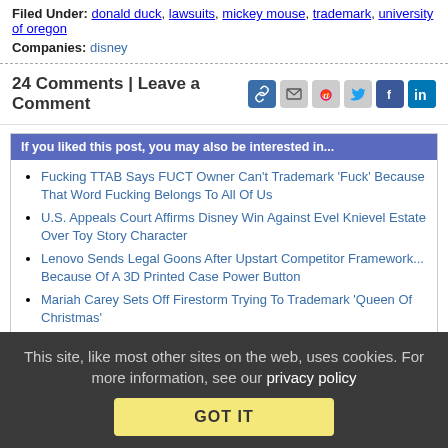Filed Under: donald duck, lawsuits, mickey mouse, trademark, university of oregon
Companies: disney
24 Comments | Leave a Comment
[Figure (infographic): Social share icons: link, email, reddit, twitter, facebook, linkedin]
If you liked this post, you may also be interested in...
Fucking TTAB Says FUCT Owner Can't Trademark 'Fuck' Because That Word Fucking Belongs To All Of Us
U.S. Appeals Court Affirms Disney Win Against Evel Knievel Estate Over Toy Story Character
Lenovo Sends Legal Goons After Upstart Competitor Framework... Because Of A 3D Printed Case Power Button
Mariah Carey Sets Off Firestorm Trying To Trademark 'Queen Of Christmas'
This site, like most other sites on the web, uses cookies. For more information, see our privacy policy
GOT IT